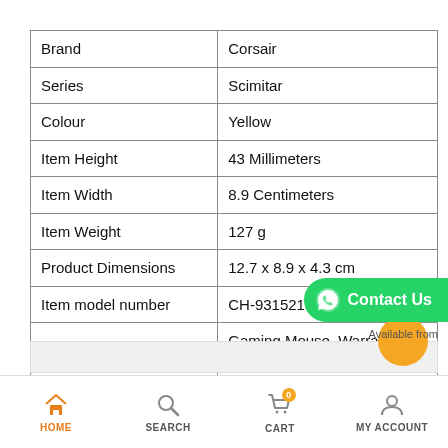| Attribute | Value |
| --- | --- |
| Brand | Corsair |
| Series | Scimitar |
| Colour | Yellow |
| Item Height | 43 Millimeters |
| Item Width | 8.9 Centimeters |
| Item Weight | 127 g |
| Product Dimensions | 12.7 x 8.9 x 4.3 cm |
| Item model number | CH-9315211-NA |
| Included Components | Gaming Mouse, Warranty Card and Quick Start Guide |
[Figure (other): Green WhatsApp Contact Us button overlay on top right of table]
HOME  SEARCH  CART (0)  MY ACCOUNT